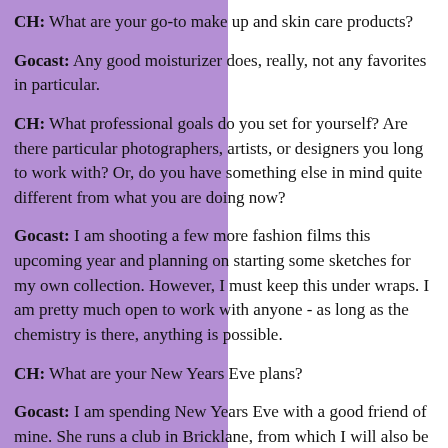CH: What are your go-to make up and skin care products?
Gocast: Any good moisturizer does, really, not any favorites in particular.
CH: What professional goals do you set for yourself? Are there particular photographers, artists, or designers you long to work with? Or, do you have something else in mind quite different from what you are doing now?
Gocast: I am shooting a few more fashion films this upcoming year and planning on starting some sketches for my own collection. However, I must keep this under wraps. I am pretty much open to work with anyone - as long as the chemistry is there, anything is possible.
CH: What are your New Years Eve plans?
Gocast: I am spending New Years Eve with a good friend of mine. She runs a club in Bricklane, from which I will also be throwing another infamous club night soon. It is a very